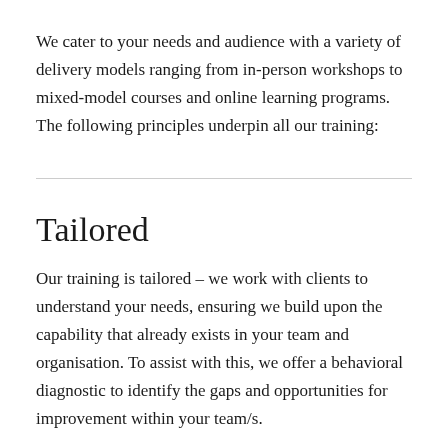We cater to your needs and audience with a variety of delivery models ranging from in-person workshops to mixed-model courses and online learning programs. The following principles underpin all our training:
Tailored
Our training is tailored – we work with clients to understand your needs, ensuring we build upon the capability that already exists in your team and organisation. To assist with this, we offer a behavioral diagnostic to identify the gaps and opportunities for improvement within your team/s.